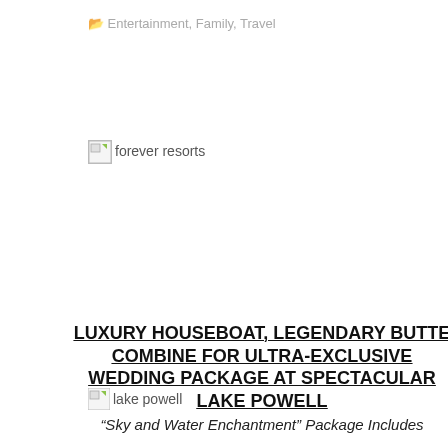Entertainment, Family, Travel
[Figure (photo): Broken image placeholder for 'forever resorts' logo]
[Figure (photo): Broken image placeholder for 'lake powell' photo]
LUXURY HOUSEBOAT, LEGENDARY BUTTE COMBINE FOR ULTRA-EXCLUSIVE WEDDING PACKAGE AT SPECTACULAR LAKE POWELL
“Sky and Water Enchantment” Package Includes